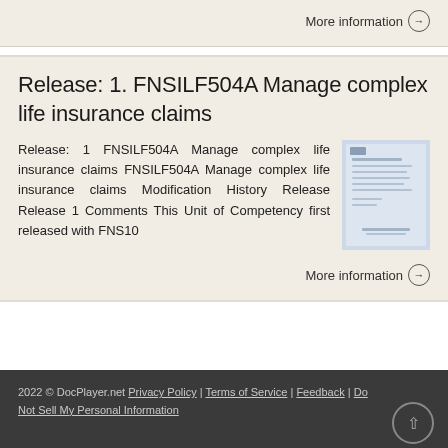More information →
Release: 1. FNSILF504A Manage complex life insurance claims
Release: 1 FNSILF504A Manage complex life insurance claims FNSILF504A Manage complex life insurance claims Modification History Release Release 1 Comments This Unit of Competency first released with FNS10
[Figure (illustration): Thumbnail image of a document cover page with blue/light background]
More information →
2022 © DocPlayer.net Privacy Policy | Terms of Service | Feedback | Do Not Sell My Personal Information